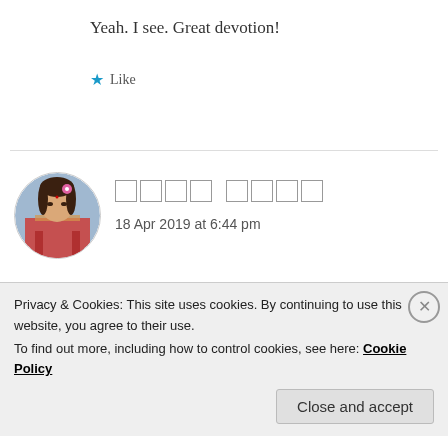Yeah. I see. Great devotion!
★ Like
[Figure (photo): Circular avatar of a woman in traditional Indian attire with jewelry]
18 Apr 2019 at 6:44 pm
thanks.. some time get romantic but i love only God
Privacy & Cookies: This site uses cookies. By continuing to use this website, you agree to their use.
To find out more, including how to control cookies, see here: Cookie Policy
Close and accept